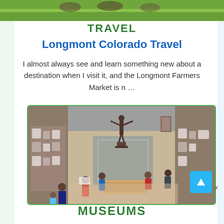[Figure (photo): Top partial photo showing children lying on green grass]
TRAVEL
Longmont Colorado Travel
I almost always see and learn something new about a destination when I visit it, and the Longmont Farmers Market is n …
[Figure (photo): Interior of a museum with ancient statues, display cases with artifacts, and visitors looking at exhibits from an elevated angle]
MUSEUMS